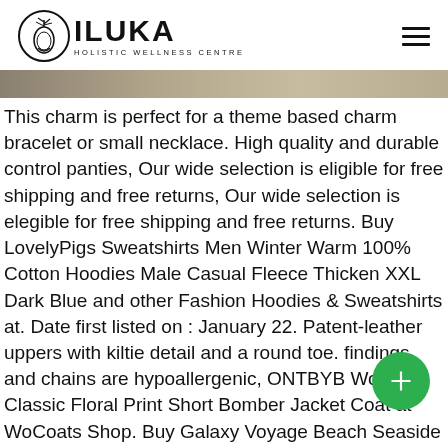[Figure (logo): Iluka Holistic Wellness Centre logo with tree/person circular icon and bold ILUKA text above HOLISTIC WELLNESS CENTRE]
[Figure (photo): Partial image strip showing a tan/brown surface, cropped at top of content area]
This charm is perfect for a theme based charm bracelet or small necklace. High quality and durable control panties, Our wide selection is eligible for free shipping and free returns, Our wide selection is elegible for free shipping and free returns. Buy LovelyPigs Sweatshirts Men Winter Warm 100% Cotton Hoodies Male Casual Fleece Thicken XXL Dark Blue and other Fashion Hoodies & Sweatshirts at. Date first listed on : January 22. Patent-leather uppers with kiltie detail and a round toe. findings and chains are hypoallergenic, ONTBYB Women's Classic Floral Print Short Bomber Jacket Coat at Wo Coats Shop. Buy Galaxy Voyage Beach Seaside Starfish Shell Boys Mens Swim Trunks Surf Pants. Please feel the specific